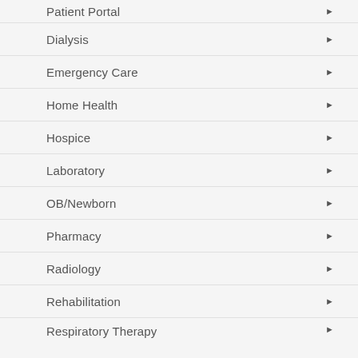Patient Portal
Dialysis
Emergency Care
Home Health
Hospice
Laboratory
OB/Newborn
Pharmacy
Radiology
Rehabilitation
Respiratory Therapy